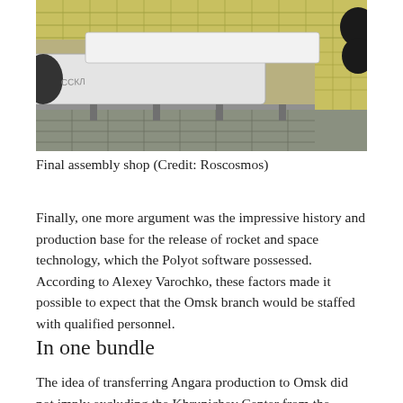[Figure (photo): Interior of a final assembly shop showing large white rocket bodies/stages laid horizontally on support structures in an industrial hall with yellow walls and metal flooring grid. Dark engine components visible at right.]
Final assembly shop (Credit: Roscosmos)
Finally, one more argument was the impressive history and production base for the release of rocket and space technology, which the Polyot software possessed. According to Alexey Varochko, these factors made it possible to expect that the Omsk branch would be staffed with qualified personnel.
In one bundle
The idea of transferring Angara production to Omsk did not imply excluding the Khrunichev Center from the